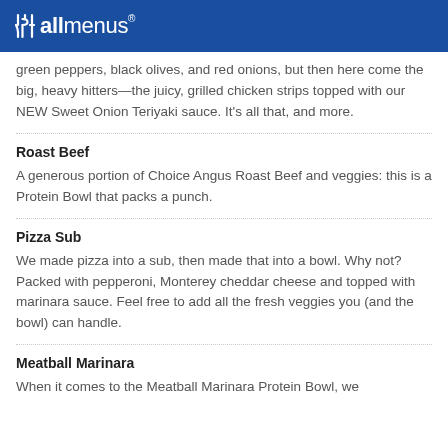allmenus
green peppers, black olives, and red onions, but then here come the big, heavy hitters—the juicy, grilled chicken strips topped with our NEW Sweet Onion Teriyaki sauce. It's all that, and more.
Roast Beef
A generous portion of Choice Angus Roast Beef and veggies: this is a Protein Bowl that packs a punch.
Pizza Sub
We made pizza into a sub, then made that into a bowl. Why not? Packed with pepperoni, Monterey cheddar cheese and topped with marinara sauce. Feel free to add all the fresh veggies you (and the bowl) can handle.
Meatball Marinara
When it comes to the Meatball Marinara Protein Bowl, we